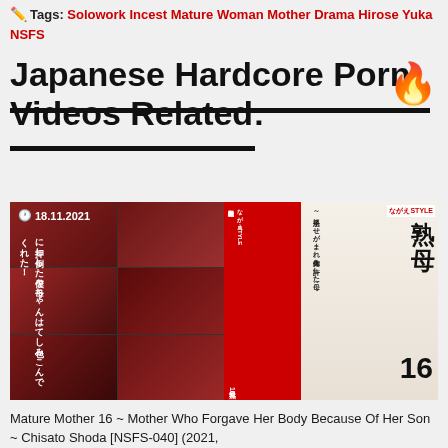Tags: Solowork Incest Mature Woman Mother Drama Hirose Yuka NSFS
Japanese Hardcore Porn Videos Related:
[Figure (photo): DVD cover thumbnail for 'Mature Mother 16' featuring a mature Japanese woman, with a red and dark collage on the left half, and a DVD cover image on the right half. Timestamp 18.11.2021 shown on upper left.]
Mature Mother 16 ~ Mother Who Forgave Her Body Because Of Her Son ~ Chisato Shoda [NSFS-040] (2021,